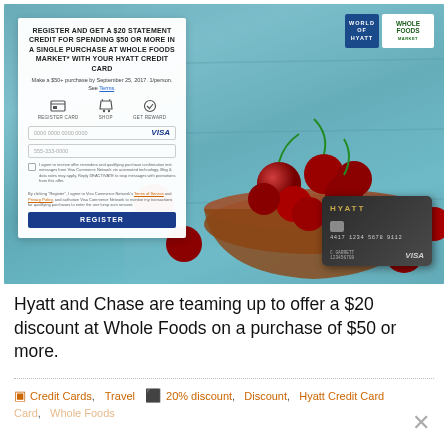[Figure (screenshot): Promotional banner for Hyatt and Chase Whole Foods offer showing a registration form overlay on top of a cherry bowl photo. The form offers a $20 statement credit for spending $50 or more at Whole Foods Market with a Hyatt Credit Card. Logos for World of Hyatt and Whole Foods Market appear top right. A Hyatt Visa credit card is shown bottom right.]
Hyatt and Chase are teaming up to offer a $20 discount at Whole Foods on a purchase of $50 or more.
Credit Cards, Travel
20% discount, Discount, Hyatt Credit Card, Whole Foods